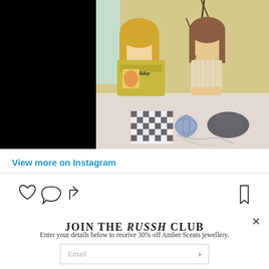[Figure (photo): Screenshot of an Instagram video showing two women sitting at a table with a vintage yellow 'Holiday' sewing machine, checkered fabric, yarn, and a black hat. The background is black on either side of the video frame.]
View more on Instagram
[Figure (other): Instagram action icons: heart (like), speech bubble (comment), share arrow on the left; bookmark icon on the right]
JOIN THE RUSSH CLUB
Enter your details below to receive 30% off Amber Sceats jewellery.
Email